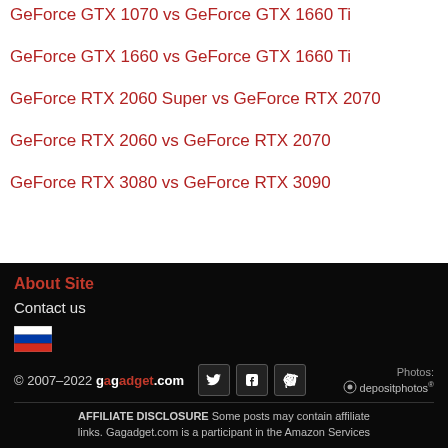GeForce GTX 1070 vs GeForce GTX 1660 Ti
GeForce GTX 1660 vs GeForce GTX 1660 Ti
GeForce RTX 2060 Super vs GeForce RTX 2070
GeForce RTX 2060 vs GeForce RTX 2070
GeForce RTX 3080 vs GeForce RTX 3090
About Site
Contact us
© 2007–2022 gagadget.com  Photos: depositphotos®  AFFILIATE DISCLOSURE Some posts may contain affiliate links. Gagadget.com is a participant in the Amazon Services